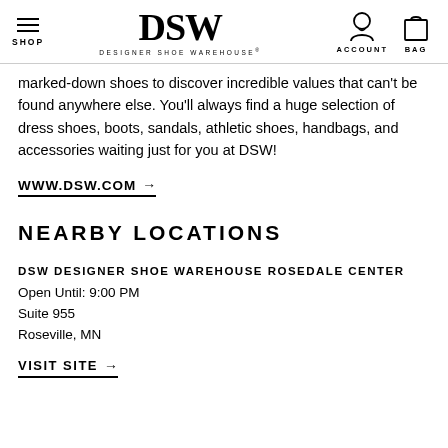SHOP | DSW DESIGNER SHOE WAREHOUSE | ACCOUNT | BAG
marked-down shoes to discover incredible values that can't be found anywhere else. You'll always find a huge selection of dress shoes, boots, sandals, athletic shoes, handbags, and accessories waiting just for you at DSW!
WWW.DSW.COM →
NEARBY LOCATIONS
DSW DESIGNER SHOE WAREHOUSE ROSEDALE CENTER
Open Until: 9:00 PM
Suite 955
Roseville, MN
VISIT SITE →